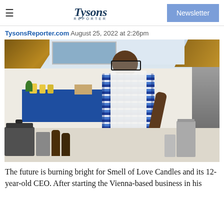Tysons Reporter — Newsletter
TysonsReporter.com  August 25, 2022 at 2:26pm
[Figure (photo): A young boy wearing glasses and a white apron works at a counter with candle-making equipment including pots, bottles, and cylindrical containers. A blue-draped table with supplies is visible in the background.]
The future is burning bright for Smell of Love Candles and its 12-year-old CEO. After starting the Vienna-based business in his…